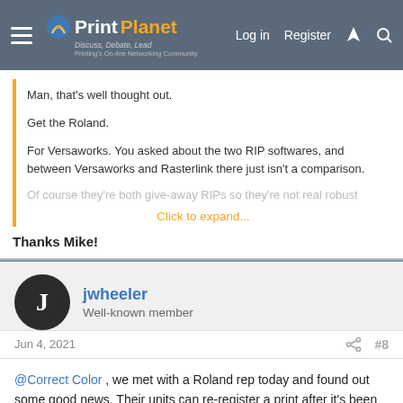PrintPlanet — Discuss, Debate, Lead. Printing's On-line Networking Community. Log in | Register
Man, that's well thought out.

Get the Roland.

For Versaworks. You asked about the two RIP softwares, and between Versaworks and Rasterlink there just isn't a comparison.

Of course they're both give-away RIPs so they're not real robust
Click to expand...
Thanks Mike!
jwheeler
Well-known member
Jun 4, 2021
#8
@Correct Color , we met with a Roland rep today and found out some good news. Their units can re-register a print after it's been laminated and run as a cut-only job. This was great